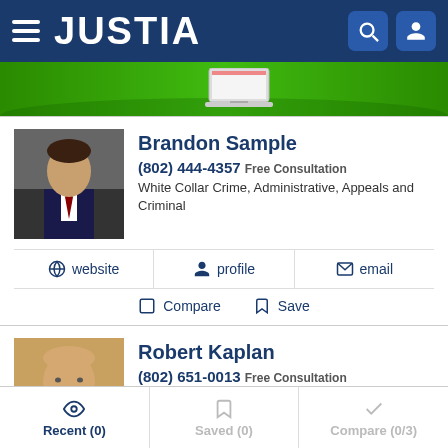[Figure (screenshot): Justia website header with hamburger menu, Justia logo, search and profile icons on dark blue background]
[Figure (illustration): Green banner with laptop illustration]
Brandon Sample
(802) 444-4357 Free Consultation
White Collar Crime, Administrative, Appeals and Criminal
website  profile  email
Compare  Save
Robert Kaplan
(802) 651-0013 Free Consultation
White Collar Crime, Criminal, DUI and Personal Injury
Recent (0)  Saved (0)  Compare (0/3)